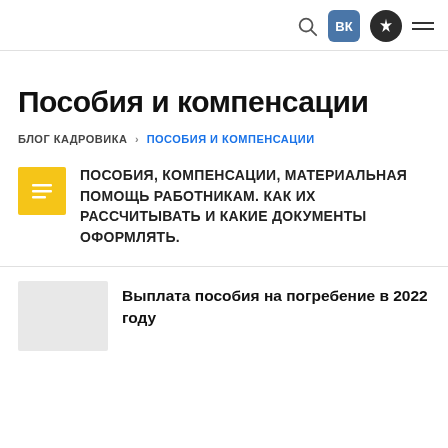Navigation bar with search, VK, star icon, and menu
Пособия и компенсации
БЛОГ КАДРОВИКА  >  ПОСОБИЯ И КОМПЕНСАЦИИ
ПОСОБИЯ, КОМПЕНСАЦИИ, МАТЕРИАЛЬНАЯ ПОМОЩЬ РАБОТНИКАМ. КАК ИХ РАССЧИТЫВАТЬ И КАКИЕ ДОКУМЕНТЫ ОФОРМЛЯТЬ.
Выплата пособия на погребение в 2022 году